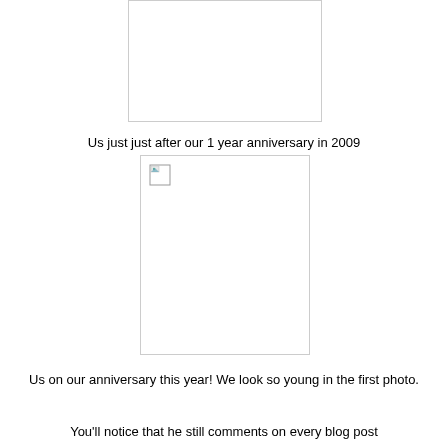[Figure (photo): A photo placeholder box (top, partially cut off) showing a white rectangle with a light gray border — image not loaded]
Us just just after our 1 year anniversary in 2009
[Figure (photo): A photo placeholder box with a broken image icon in the top-left corner — image not loaded, tall portrait orientation]
Us on our anniversary this year! We look so young in the first photo.
You'll notice that he still comments on every blog post (because that's just so sweet). We haven't seen each other